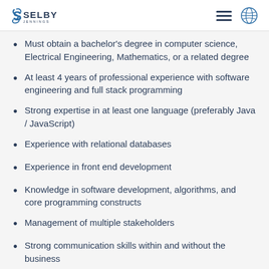Selby Jennings
Must obtain a bachelor's degree in computer science, Electrical Engineering, Mathematics, or a related degree
At least 4 years of professional experience with software engineering and full stack programming
Strong expertise in at least one language (preferably Java / JavaScript)
Experience with relational databases
Experience in front end development
Knowledge in software development, algorithms, and core programming constructs
Management of multiple stakeholders
Strong communication skills within and without the business